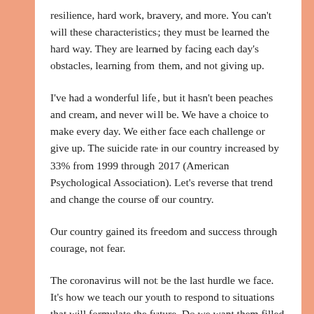resilience, hard work, bravery, and more. You can't will these characteristics; they must be learned the hard way. They are learned by facing each day's obstacles, learning from them, and not giving up.
I've had a wonderful life, but it hasn't been peaches and cream, and never will be. We have a choice to make every day. We either face each challenge or give up. The suicide rate in our country increased by 33% from 1999 through 2017 (American Psychological Association). Let's reverse that trend and change the course of our country.
Our country gained its freedom and success through courage, not fear.
The coronavirus will not be the last hurdle we face. It's how we teach our youth to respond to situations that will formulate the future. Do we want them filled with fear or